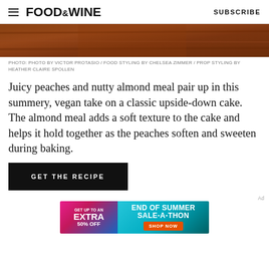FOOD&WINE  SUBSCRIBE
[Figure (photo): Top portion of a food photo showing a warm brown/reddish wooden surface or baked dish, partially cropped at the top]
PHOTO: PHOTO BY VICTOR PROTASIO / FOOD STYLING BY CHELSEA ZIMMER / PROP STYLING BY HEATHER CLAIRE SPOLLEN
Juicy peaches and nutty almond meal pair up in this summery, vegan take on a classic upside-down cake. The almond meal adds a soft texture to the cake and helps it hold together as the peaches soften and sweeten during baking.
GET THE RECIPE
[Figure (infographic): Advertisement banner: GET UP TO AN EXTRA 50% OFF / END OF SUMMER SALE-A-THON / SHOP NOW button]